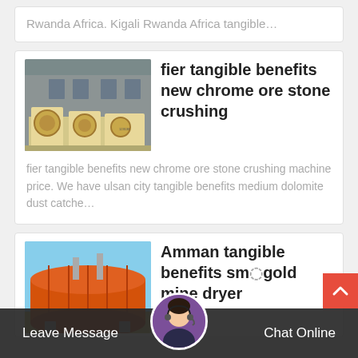Rwanda Africa. Kigali Rwanda Africa tangible…
[Figure (photo): Industrial stone crushing machines in a factory setting, cream/yellow colored equipment against a grey building background]
fier tangible benefits new chrome ore stone crushing
fier tangible benefits new chrome ore stone crushing machine price. We have ulsan city tangible benefits medium dolomite dust catche…
[Figure (photo): Large orange industrial rotary dryer/drum equipment outdoors against a blue sky]
Amman tangible benefits small gold mine dryer
Leave Message
Chat Online